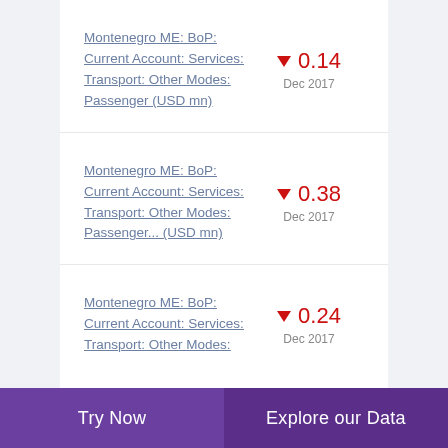Montenegro ME: BoP: Current Account: Services: Transport: Other Modes: Passenger (USD mn)
Montenegro ME: BoP: Current Account: Services: Transport: Other Modes: Passenger... (USD mn)
Montenegro ME: BoP: Current Account: Services: Transport: Other Modes:
Try Now   Explore our Data